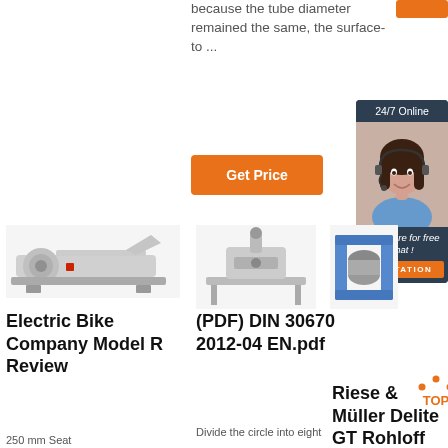because the tube diameter remained the same, the surface-to ...
Get Price
[Figure (infographic): 24/7 Online chat widget with a woman wearing a headset, dark background, orange QUOTATION button and 'Click here for free chat!' text]
[Figure (photo): Industrial machine product image 1 - horizontal cylindrical machine on platform]
[Figure (photo): Industrial machine product image 2 - compact table-top machine]
[Figure (photo): Industrial machine product image 3 - blue mechanical device]
Electric Bike Company Model R Review
(PDF) DIN 30670 2012-04 EN.pdf
Riese & Müller Delite GT Rohloff Review
250 mm Seat
Divide the circle into eight